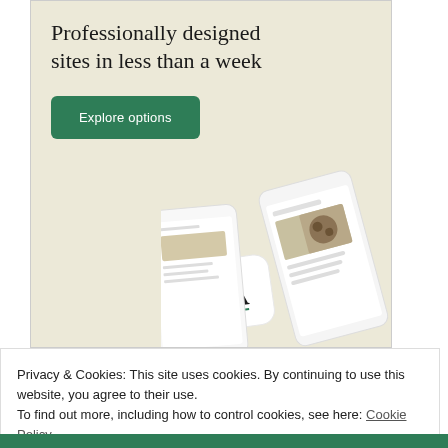[Figure (screenshot): Advertisement banner with beige/cream background showing 'Professionally designed sites in less than a week' headline and a green 'Explore options' button, with phone mockups showing website designs in the bottom right]
Privacy & Cookies: This site uses cookies. By continuing to use this website, you agree to their use.
To find out more, including how to control cookies, see here: Cookie Policy
Close and accept